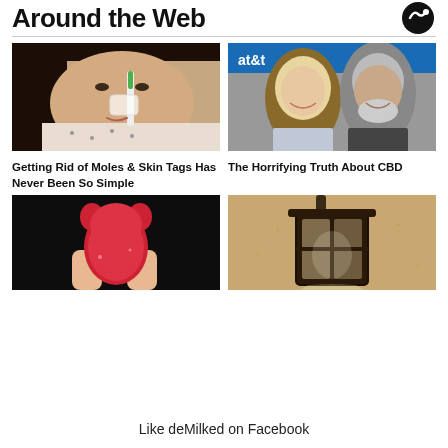Around the Web
[Figure (photo): Woman applying something to her nose with a toothbrush]
Getting Rid of Moles & Skin Tags Has Never Been So Simple
[Figure (photo): Smiling blonde woman and older man with white beard at AT&T event]
The Horrifying Truth About CBD
[Figure (photo): Close-up of a red gummy candy held by fingers against black background]
[Figure (photo): Outdoor wall lantern lamp fixture on stucco wall]
Like deMilked on Facebook